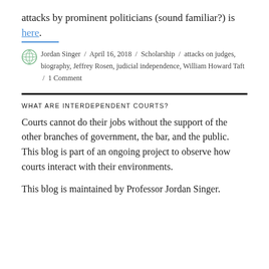attacks by prominent politicians (sound familiar?) is here.
Jordan Singer / April 16, 2018 / Scholarship / attacks on judges, biography, Jeffrey Rosen, judicial independence, William Howard Taft / 1 Comment
WHAT ARE INTERDEPENDENT COURTS?
Courts cannot do their jobs without the support of the other branches of government, the bar, and the public. This blog is part of an ongoing project to observe how courts interact with their environments.
This blog is maintained by Professor Jordan Singer.